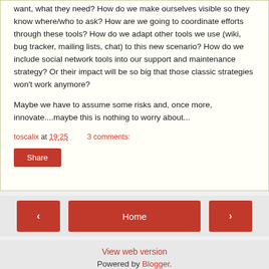want, what they need? How do we make ourselves visible so they know where/who to ask? How are we going to coordinate efforts through these tools? How do we adapt other tools we use (wiki, bug tracker, mailing lists, chat) to this new scenario? How do we include social network tools into our support and maintenance strategy? Or their impact will be so big that those classic strategies won't work anymore?
Maybe we have to assume some risks and, once more, innovate....maybe this is nothing to worry about...
toscalix at 19:25    3 comments:
Share
< Home > View web version Powered by Blogger.